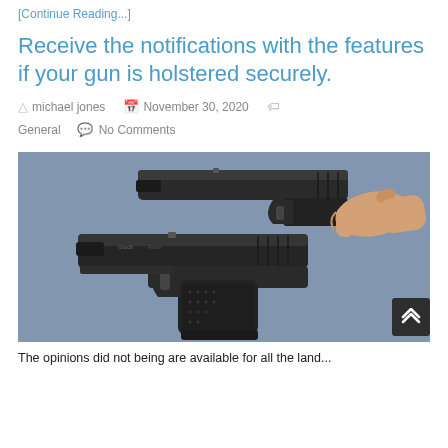[Continue Reading...]
Receive the notifications with the features if your gun is holstered securely.
michael jones   November 30, 2020   General   No Comments
[Figure (photo): Two black semi-automatic pistols (Glock-style) on a blue/gray surface, with a hand holding one of them from the right side.]
The opinions did not being are available for all the land...